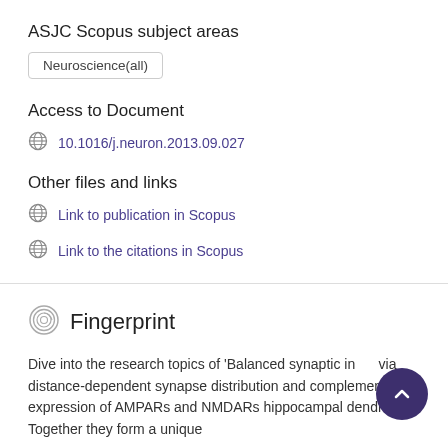ASJC Scopus subject areas
Neuroscience(all)
Access to Document
10.1016/j.neuron.2013.09.027
Other files and links
Link to publication in Scopus
Link to the citations in Scopus
Fingerprint
Dive into the research topics of 'Balanced synaptic input via distance-dependent synapse distribution and complementary expression of AMPARs and NMDARs hippocampal dendrites'. Together they form a unique